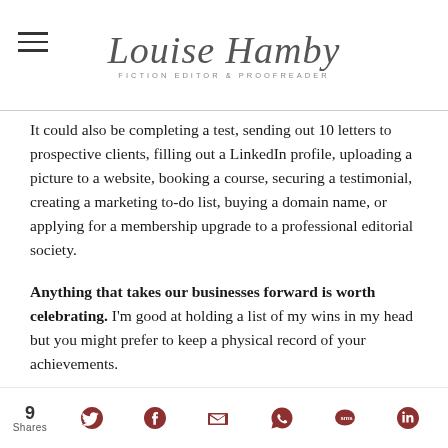Louise Hamby — Fiction Editor & Proofreader
It could also be completing a test, sending out 10 letters to prospective clients, filling out a LinkedIn profile, uploading a picture to a website, booking a course, securing a testimonial, creating a marketing to-do list, buying a domain name, or applying for a membership upgrade to a professional editorial society.
Anything that takes our businesses forward is worth celebrating. I'm good at holding a list of my wins in my head but you might prefer to keep a physical record of your achievements.
You don't need anything fancy – a spreadsheet, a
9 Shares